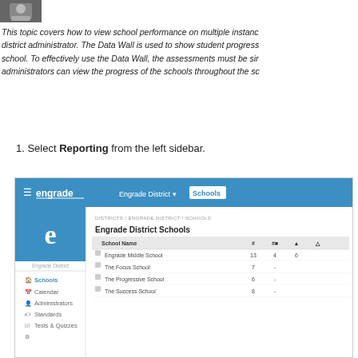[Figure (screenshot): Small profile photo thumbnail in top left corner]
This topic covers how to view school performance on multiple instances as a district administrator. The Data Wall is used to show student progress school. To effectively use the Data Wall, the assessments must be similar so administrators can view the progress of the schools throughout the sc
1. Select Reporting from the left sidebar.
[Figure (screenshot): Screenshot of Engrade District Schools interface showing navigation bar with Engrade logo, Engrade District and Schools tabs. Left sidebar shows Schools (active), Calendar, Administrators, Standards, Tests & Quizzes menu items. Main content shows breadcrumb DISTRICTS / ENGRADE DISTRICT / SCHOOLS, heading Engrade District Schools, and a table with columns School Name, and numeric columns. Rows: Engrade Middle School (13, 4, 6), The Focus School (7, -, -), The Progressive School (6, -, -), The Success School (8, -, -).]